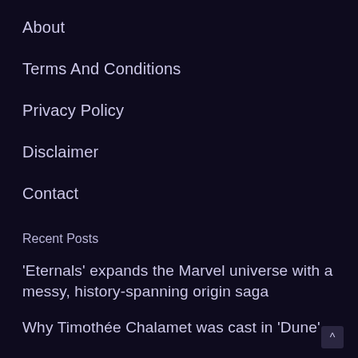About
Terms And Conditions
Privacy Policy
Disclaimer
Contact
Recent Posts
‘Eternals’ expands the Marvel universe with a messy, history-spanning origin saga
Why Timothée Chalamet was cast in ‘Dune’
Hypothyroidism patients are at risk of fatal